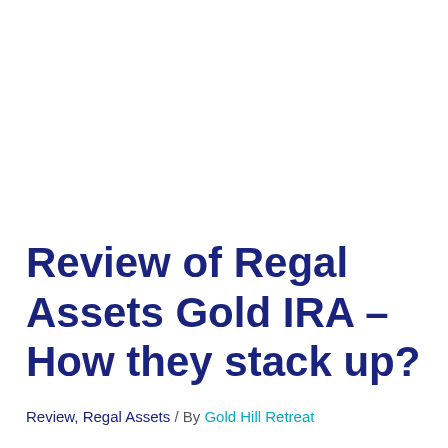Review of Regal Assets Gold IRA – How they stack up?
Review, Regal Assets / By Gold Hill Retreat